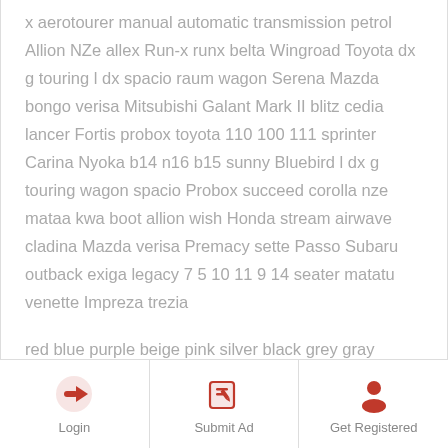x aerotourer manual automatic transmission petrol Allion NZe allex Run-x runx belta Wingroad Toyota dx g touring l dx spacio raum wagon Serena Mazda bongo verisa Mitsubishi Galant Mark II blitz cedia lancer Fortis probox toyota 110 100 111 sprinter Carina Nyoka b14 n16 b15 sunny Bluebird l dx g touring wagon spacio Probox succeed corolla nze mataa kwa boot allion wish Honda stream airwave cladina Mazda verisa Premacy sette Passo Subaru outback exiga legacy 7 5 10 11 9 14 seater matatu venette Impreza trezia
red blue purple beige pink silver black grey gray yellow purple navy blue sky green white pearl wine maroon gold colour trade in OK other higher
Login | Submit Ad | Get Registered